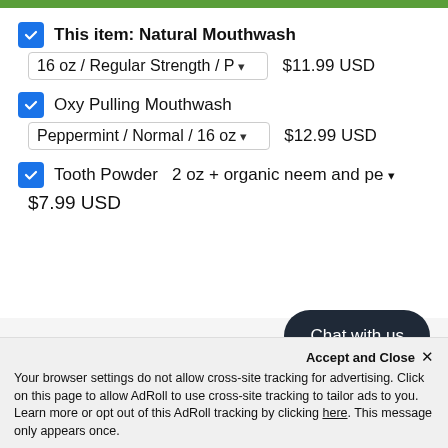This item: Natural Mouthwash  16 oz / Regular Strength / P▾  $11.99 USD
Oxy Pulling Mouthwash  Peppermint / Normal / 16 oz ▾  $12.99 USD
Tooth Powder  2 oz + organic neem and pe ▾  $7.99 USD
[Figure (screenshot): Chat with us button (dark rounded pill)]
Accept and Close ✕
Your browser settings do not allow cross-site tracking for advertising. Click on this page to allow AdRoll to use cross-site tracking to tailor ads to you. Learn more or opt out of this AdRoll tracking by clicking here. This message only appears once.